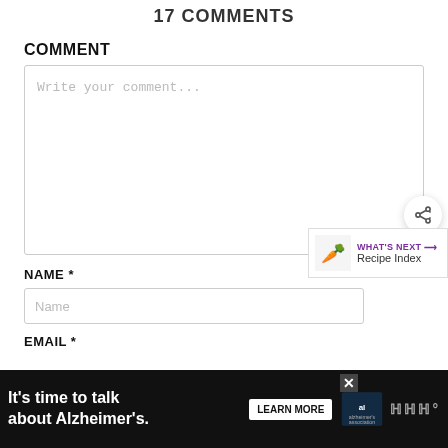17 COMMENTS
COMMENT
Write your comment...
NAME *
Name
WHAT'S NEXT → Recipe Index
EMAIL *
[Figure (infographic): Alzheimer's Association advertisement banner: 'It's time to talk about Alzheimer's.' with LEARN MORE button and alzheimer's association logo]